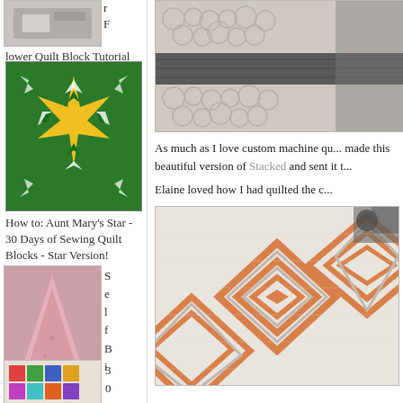[Figure (photo): Partial view of quilt thumbnail at top of left sidebar]
lower Quilt Block Tutorial
[Figure (photo): Aunt Mary's Star quilt block - green background with yellow star pattern]
How to: Aunt Mary's Star - 30 Days of Sewing Quilt Blocks - Star Version!
[Figure (photo): Pink self-binding receiving blanket thumbnail]
Self Binding Receiving Blanket Tutorial
[Figure (photo): Quilt blocks thumbnail at bottom of sidebar]
30
[Figure (photo): Close-up of quilted fabric showing grey and beige tones with pebble quilting texture and dark stripe]
As much as I love custom machine qu... made this beautiful version of Stacked and sent it t...
Elaine loved how I had quilted the c...
[Figure (photo): Orange and white geometric diamond/square quilt pattern photographed at angle]